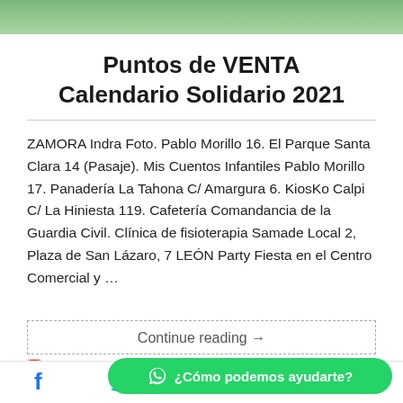[Figure (photo): Green nature/park background image cropped at top]
Puntos de VENTA Calendario Solidario 2021
ZAMORA Indra Foto. Pablo Morillo 16. El Parque Santa Clara 14 (Pasaje). Mis Cuentos Infantiles Pablo Morillo 17. Panadería La Tahona C/ Amargura 6. KiosKo Calpi C/ La Hiniesta 119. Cafetería Comandancia de la Guardia Civil. Clínica de fisioterapia Samade Local 2, Plaza de San Lázaro, 7 LEÓN Party Fiesta en el Centro Comercial y …
Continue reading →
2 octubre